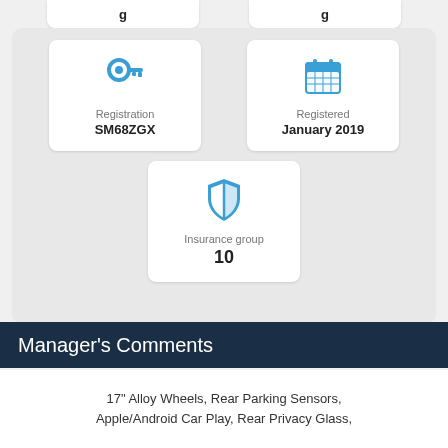[Figure (infographic): Two partially visible white info cards at top, cut off, showing bold text values]
[Figure (infographic): White info card with blue key icon, label 'Registration', value 'SM68ZGX']
[Figure (infographic): White info card with blue calendar icon, label 'Registered', value 'January 2019']
[Figure (infographic): White info card with blue shield icon, label 'Insurance group', value '10']
Manager's Comments
17" Alloy Wheels, Rear Parking Sensors, Apple/Android Car Play, Rear Privacy Glass,